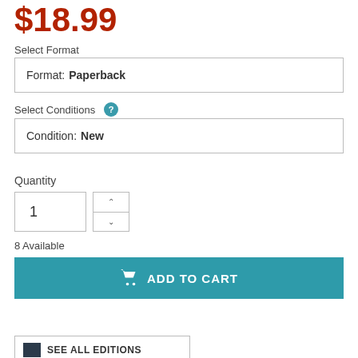$18.99
Select Format
Format: Paperback
Select Conditions
Condition: New
Quantity
1
8 Available
ADD TO CART
SEE ALL EDITIONS